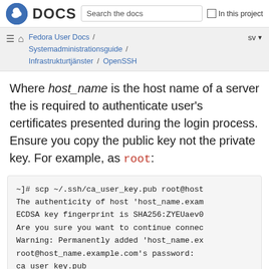DOCS | Search the docs | In this project
Fedora User Docs / Systemadministrationsguide / Infrastrukturtjänster / OpenSSH | sv
Where host_name is the host name of a server the is required to authenticate user's certificates presented during the login process. Ensure you copy the public key not the private key. For example, as root:
~]# scp ~/.ssh/ca_user_key.pub root@host
The authenticity of host 'host_name.exam
ECDSA key fingerprint is SHA256:ZYEUaev0
Are you sure you want to continue connec
Warning: Permanently added 'host_name.ex
root@host_name.example.com's password:
ca_user_key.pub